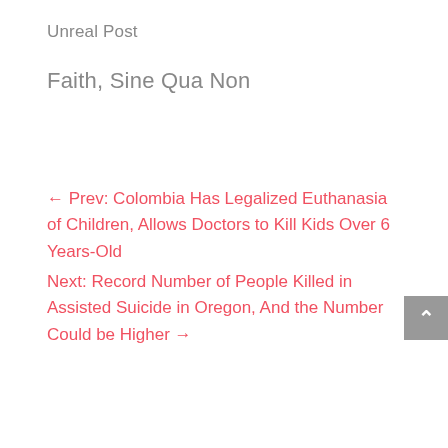Unreal Post
Faith, Sine Qua Non
← Prev: Colombia Has Legalized Euthanasia of Children, Allows Doctors to Kill Kids Over 6 Years-Old
Next: Record Number of People Killed in Assisted Suicide in Oregon, And the Number Could be Higher →